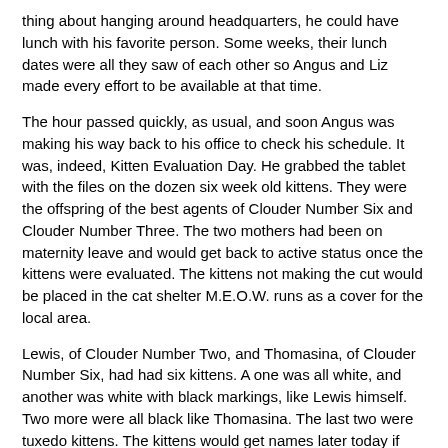thing about hanging around headquarters, he could have lunch with his favorite person. Some weeks, their lunch dates were all they saw of each other so Angus and Liz made every effort to be available at that time.
The hour passed quickly, as usual, and soon Angus was making his way back to his office to check his schedule. It was, indeed, Kitten Evaluation Day. He grabbed the tablet with the files on the dozen six week old kittens. They were the offspring of the best agents of Clouder Number Six and Clouder Number Three. The two mothers had been on maternity leave and would get back to active status once the kittens were evaluated. The kittens not making the cut would be placed in the cat shelter M.E.O.W. runs as a cover for the local area.
Lewis, of Clouder Number Two, and Thomasina, of Clouder Number Six, had had six kittens. A one was all white, and another was white with black markings, like Lewis himself. Two more were all black like Thomasina. The last two were tuxedo kittens. The kittens would get names later today if accepted in for training. If not they'd get temporary names until adopted through the shelter.
Colonel Mustard, who ironically held a Captain's commission in Clouder Number Six, had had five kittens with Sushi of Clouder Number Three. Two of them were marmalade toms like their sire and two were Tortoise Shell females. The last kitten was a calico female with the attitude of a runt.